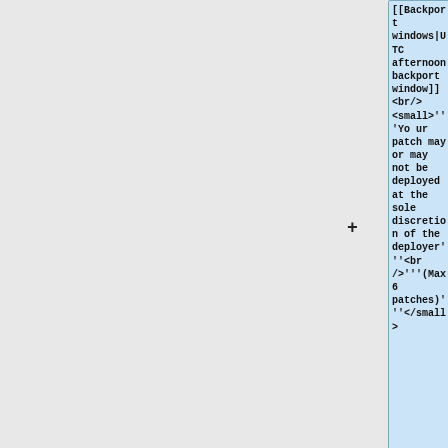[[Backport windows|UTC afternoon backport window]]
<br/>
<small>'''Your patch may or may not be deployed at the sole discretion of the deployer'''<br />'''(Max 6 patches)'''</small>
|who={{ircnick|Ro